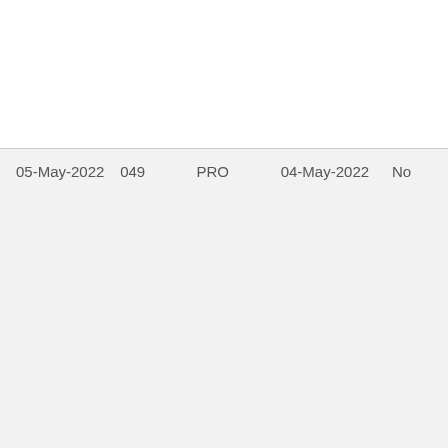| 05-May-2022 | 049 | PRO | 04-May-2022 | No |